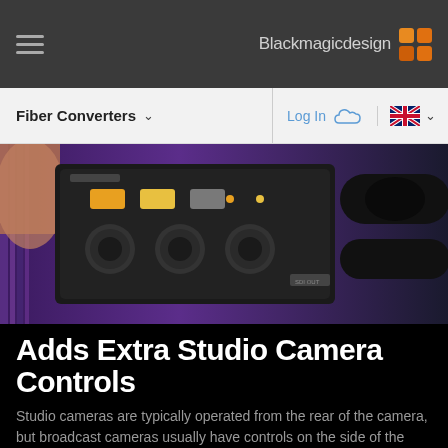Blackmagicdesign
Fiber Converters
Log In
[Figure (photo): Close-up photograph of Blackmagic Camera Fiber Converter hardware showing connectors, ports, and orange/yellow indicator buttons on a dark camera body]
Adds Extra Studio Camera Controls
Studio cameras are typically operated from the rear of the camera, but broadcast cameras usually have controls on the side of the camera! To solve this problem, the Blackmagic Camera Fiber Converter also adds a wide range of controls and features to